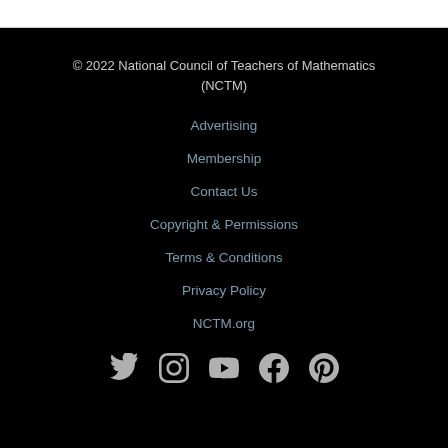© 2022 National Council of Teachers of Mathematics (NCTM)
Advertising
Membership
Contact Us
Copyright & Permissions
Terms & Conditions
Privacy Policy
NCTM.org
[Figure (infographic): Social media icons: Twitter, Instagram, YouTube, Facebook, Pinterest]